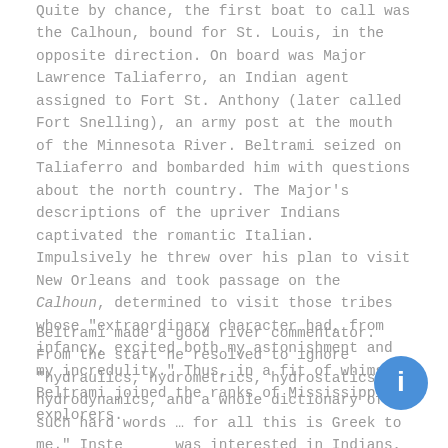Quite by chance, the first boat to call was the Calhoun, bound for St. Louis, in the opposite direction. On board was Major Lawrence Taliaferro, an Indian agent assigned to Fort St. Anthony (later called Fort Snelling), an army post at the mouth of the Minnesota River. Beltrami seized on Taliaferro and bombarded him with questions about the north country. The Major's descriptions of the upriver Indians captivated the romantic Italian. Impulsively he threw over his plan to visit New Orleans and took passage on the Calhoun, determined to visit those tribes whose "extraordinary character had, from infancy, excited both my astonishment and my incredulity." Thus, in a fit of whimsy, Beltrami joined the ranks of Mississippi explorers.
Beltrami made a good river commentator. From the start he resolved to ignore "hydraulics, hydrometrics, hydrostatics, hydrodynamics, and a whole dictionary of such hard words … for all this is Greek to me." Instead he was interested in Indians, pioneer figures, the scenery, and of course "antiquities." It was difficult to apply classical quotations to frontier America, but Beltrami tried hard.